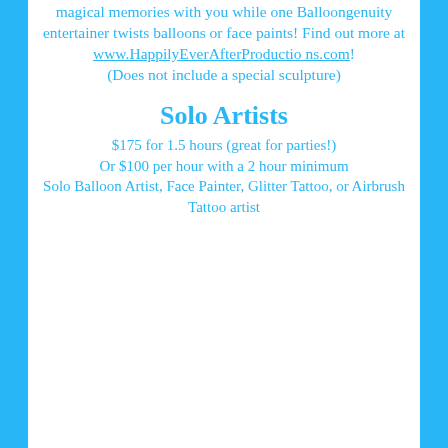magical memories with you while one Balloongenuity entertainer twists balloons or face paints! Find out more at www.HappilyEverAfterProductions.com! (Does not include a special sculpture)
Solo Artists
$175 for 1.5 hours (great for parties!) Or $100 per hour with a 2 hour minimum Solo Balloon Artist, Face Painter, Glitter Tattoo, or Airbrush Tattoo artist